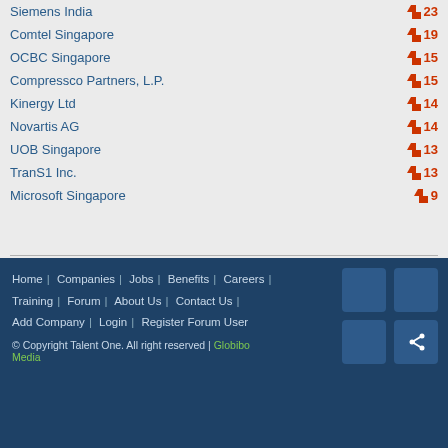Siemens India — 23
Comtel Singapore — 19
OCBC Singapore — 15
Compressco Partners, L.P. — 15
Kinergy Ltd — 14
Novartis AG — 14
UOB Singapore — 13
Microsoft Singapore — 9
Hot Sites
www.standardchartered.com
www.bayer.com
www.ernstyoung.com
www.7eleven.com.sg
http://www.taser.com/
www.bmw.com.sg
www.aig.com.sg
www.basf.com
www.vw.com
http://www.pinnacleminds.com.sg/
Home | Companies | Jobs | Benefits | Careers | Training | Forum | About Us | Contact Us | Add Company | Login | Register Forum User
© Copyright Talent One. All right reserved | Globibo Media